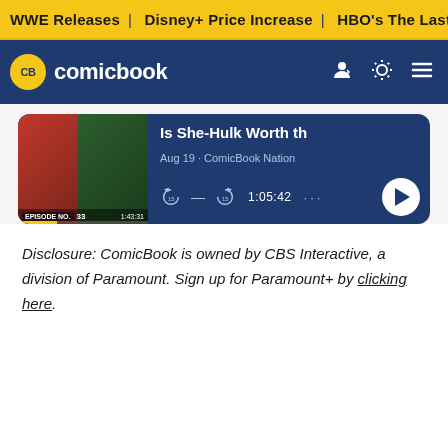WWE Releases | Disney+ Price Increase | HBO's The Last of U
CB comicbook
[Figure (screenshot): Podcast player card showing 'Is She-Hulk Worth th' episode, Aug 19 · ComicBook Nation, duration 1:05:42 with playback controls]
Disclosure: ComicBook is owned by CBS Interactive, a division of Paramount. Sign up for Paramount+ by clicking here.